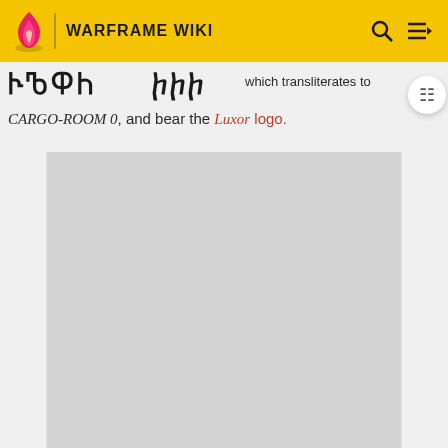WARFRAME WIKI
which transliterates to
CARGO-ROOM 0, and bear the Luxor logo.
[Figure (other): Gray advertisement placeholder box]
ADVERTISEMENT